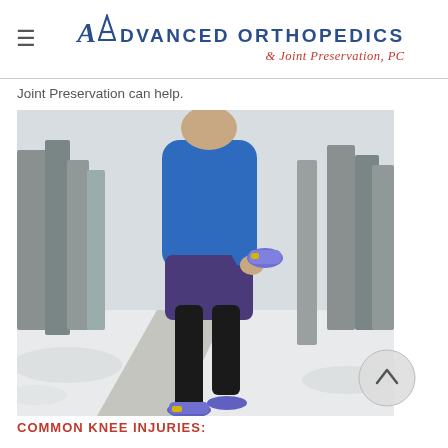Advanced Orthopedics & Joint Preservation, PC
Joint Preservation can help.
[Figure (photo): Person in blue jacket and purple shorts stretching knee on a snowy road surrounded by pine trees, wearing colorful running shoes]
COMMON KNEE INJURIES: